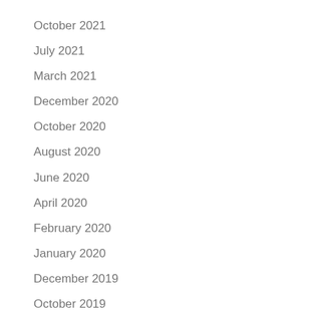October 2021
July 2021
March 2021
December 2020
October 2020
August 2020
June 2020
April 2020
February 2020
January 2020
December 2019
October 2019
September 2019